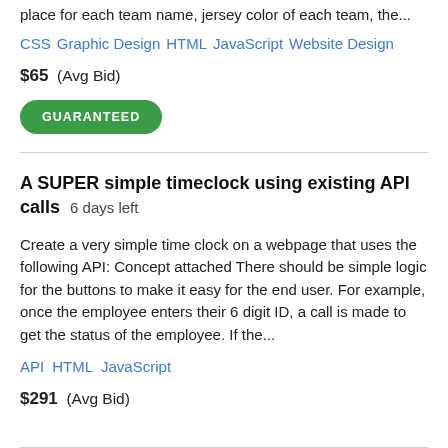place for each team name, jersey color of each team, the…
CSS   Graphic Design   HTML   JavaScript   Website Design
$65  (Avg Bid)
GUARANTEED
A SUPER simple timeclock using existing API calls  6 days left
Create a very simple time clock on a webpage that uses the following API: Concept attached There should be simple logic for the buttons to make it easy for the end user. For example, once the employee enters their 6 digit ID, a call is made to get the status of the employee. If the…
API   HTML   JavaScript
$291  (Avg Bid)